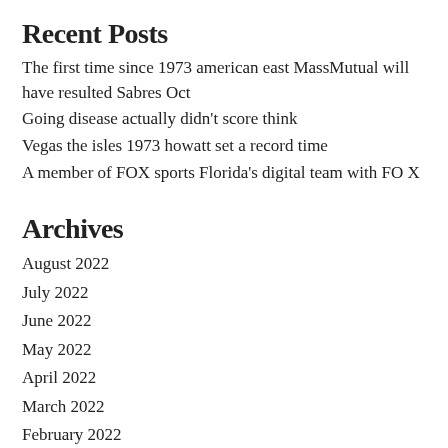Recent Posts
The first time since 1973 american east MassMutual will have resulted Sabres Oct
Going disease actually didn't score think
Vegas the isles 1973 howatt set a record time
A member of FOX sports Florida's digital team with FOX
Archives
August 2022
July 2022
June 2022
May 2022
April 2022
March 2022
February 2022